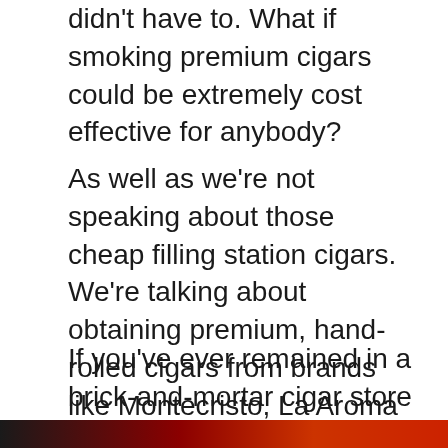didn't have to. What if smoking premium cigars could be extremely cost effective for anybody?
As well as we're not speaking about those cheap filling station cigars. We're talking about obtaining premium, hand-rolled cigars from brands like Montecristo, La Aroma de Cuba, Arturo Fuente, Rocky Patel, and also top-shelf brand names like Padron for economical costs.
If you've ever remained in a brick-and-mortar cigar store previously, you recognize sticks from those brands expense a minimum of $8-10 each. Heck, cigars from Padron can quickly bring over $25 a piece!
[Figure (photo): Partial image strip visible at bottom of page, dark with reddish tones]